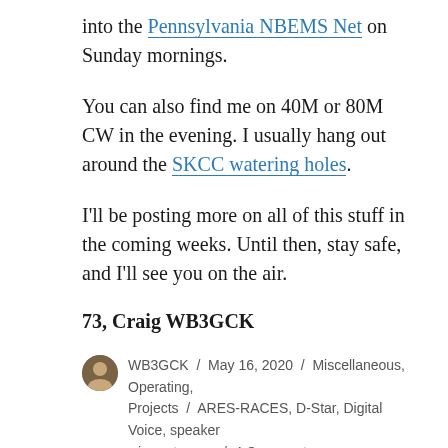into the Pennsylvania NBEMS Net on Sunday mornings.
You can also find me on 40M or 80M CW in the evening. I usually hang out around the SKCC watering holes.
I'll be posting more on all of this stuff in the coming weeks. Until then, stay safe, and I'll see you on the air.
73, Craig WB3GCK
WB3GCK / May 16, 2020 / Miscellaneous, Operating, Projects / ARES-RACES, D-Star, Digital Voice, speaker wire antennas / 4 Comments